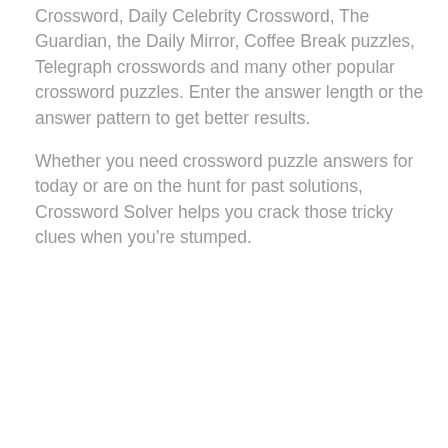Crossword, Daily Celebrity Crossword, The Guardian, the Daily Mirror, Coffee Break puzzles, Telegraph crosswords and many other popular crossword puzzles. Enter the answer length or the answer pattern to get better results.
Whether you need crossword puzzle answers for today or are on the hunt for past solutions, Crossword Solver helps you crack those tricky clues when you're stumped.